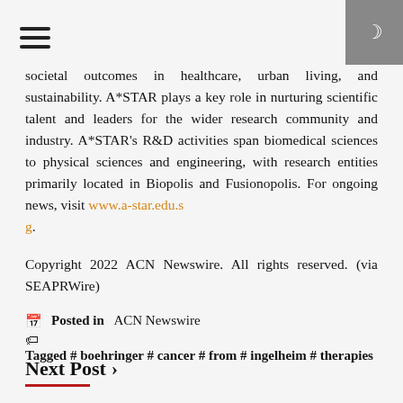Navigation header with hamburger menu and dark mode toggle
societal outcomes in healthcare, urban living, and sustainability. A*STAR plays a key role in nurturing scientific talent and leaders for the wider research community and industry. A*STAR's R&D activities span biomedical sciences to physical sciences and engineering, with research entities primarily located in Biopolis and Fusionopolis. For ongoing news, visit www.a-star.edu.sg.
Copyright 2022 ACN Newswire. All rights reserved. (via SEAPRWire)
Posted in ACN Newswire
Tagged # boehringer # cancer # from # ingelheim # therapies
Next Post >